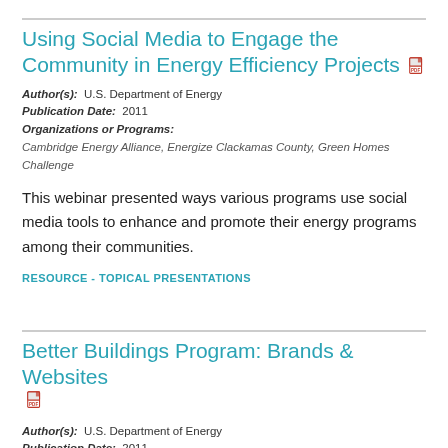Using Social Media to Engage the Community in Energy Efficiency Projects
Author(s): U.S. Department of Energy
Publication Date: 2011
Organizations or Programs:
Cambridge Energy Alliance, Energize Clackamas County, Green Homes Challenge
This webinar presented ways various programs use social media tools to enhance and promote their energy programs among their communities.
RESOURCE - TOPICAL PRESENTATIONS
Better Buildings Program: Brands & Websites
Author(s): U.S. Department of Energy
Publication Date: 2011
Organizations or Programs: